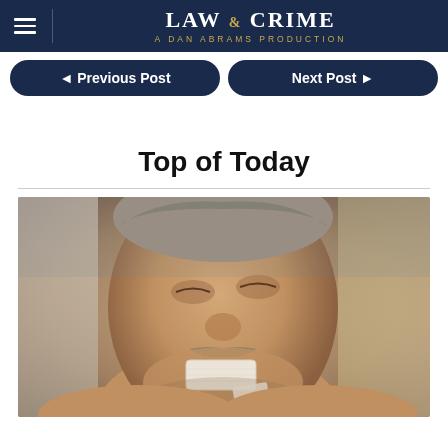LAW & CRIME — A DAN ABRAMS PRODUCTION
◄ Previous Post   Next Post ►
Top of Today
[Figure (photo): Close-up photo of a middle-aged man with a grey mustache, looking upward, with medical tape on his jaw/chin area, shirtless, in what appears to be a bathroom setting.]